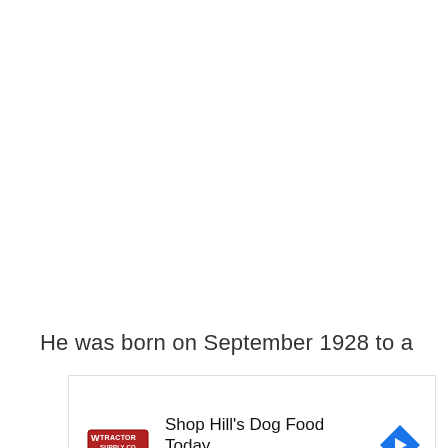He was born on September 1928 to a
[Figure (other): Advertisement for Tractor Supply Co promoting Hill's Dog Food. Logo shows Tractor Supply Co brand mark in red/white. Ad text reads: 'Shop Hill's Dog Food Today' with URL 'Tractorsupply.com'. A blue diamond-shaped navigation arrow icon appears on the right. Play and close (X) icons appear at the bottom left.]